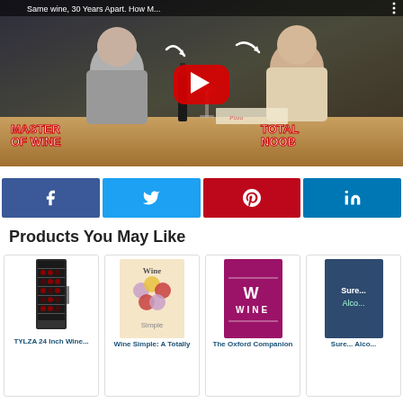[Figure (screenshot): YouTube video thumbnail showing two men at a table with pizza. Left man labeled MASTER OF WINE, right man labeled TOTAL NOOB. Title reads 'Same wine, 30 Years Apart. How M...' with YouTube play button.]
[Figure (infographic): Row of four social share buttons: Facebook (dark blue, f icon), Twitter (light blue, bird icon), Pinterest (red, P icon), LinkedIn (blue, in icon).]
Products You May Like
[Figure (photo): TYLZA 24 Inch Wine cooler refrigerator product image]
TYLZA 24 Inch Wine...
[Figure (photo): Wine Simple: A Totally book cover with grape bunch illustration on cream background]
Wine Simple: A Totally
[Figure (photo): The Oxford Companion book cover, dark magenta/pink with white WINE text]
The Oxford Companion
Sure... Alco...